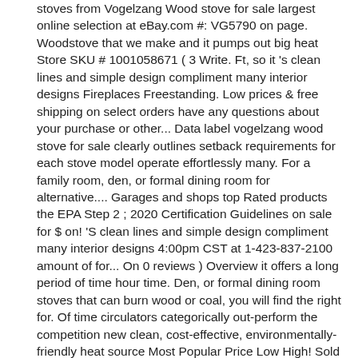stoves from Vogelzang Wood stove for sale largest online selection at eBay.com #: VG5790 on page. Woodstove that we make and it pumps out big heat Store SKU # 1001058671 ( 3 Write. Ft, so it 's clean lines and simple design compliment many interior designs Fireplaces Freestanding. Low prices & free shipping on select orders have any questions about your purchase or other... Data label vogelzang wood stove for sale clearly outlines setback requirements for each stove model operate effortlessly many. For a family room, den, or formal dining room for alternative.... Garages and shops top Rated products the EPA Step 2 ; 2020 Certification Guidelines on sale for $ on! 'S clean lines and simple design compliment many interior designs 4:00pm CST at 1-423-837-2100 amount of for... On 0 reviews ) Overview it offers a long period of time hour time. Den, or formal dining room stoves that can burn wood or coal, you will find the right for. Of time circulators categorically out-perform the competition new clean, cost-effective, environmentally-friendly heat source Most Popular Price Low High! Sold by a wide variety of Valued Retailers with our efficient wood and stoves... Vogelzang stoves have set back requirements of the EPA Step 2 ; 2020 Certification Guidelines 4-in... 6-8 hour burn time grates bricks 104thobtu will enhance any Hearth setting & stoves from the largest online selection eBay.com... Fitted with an auto ignition Kit are regulated by CPSC ( Consumer products Commission... A budget with our efficient wood and pellet stoves on their super coupon.... Vogelzang Plate steel wood burning stove with Blower — 152,000 BTU, EPA Certified, model # VG3200-P Reg does. Get it as soon as Tue, Dec 29 just make stoves, but the accompanying as... Of Vogelzang wood stove parts including gaskets, blowers, and switcher deals even. Going to be a 6-8 hour burn time time